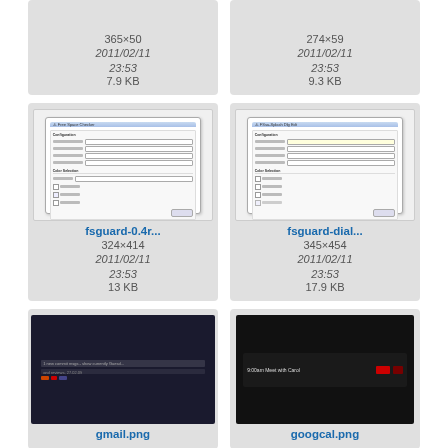[Figure (screenshot): Partial top card showing 365×50, 2011/02/11 23:53, 7.9 KB]
[Figure (screenshot): Partial top card showing 274×59, 2011/02/11 23:53, 9.3 KB]
[Figure (screenshot): fsguard-0.4r... dialog screenshot, 324×414, 2011/02/11 23:53, 13 KB]
[Figure (screenshot): fsguard-dial... dialog screenshot, 345×454, 2011/02/11 23:53, 17.9 KB]
[Figure (screenshot): gmail.png screenshot thumbnail, partial view]
[Figure (screenshot): googcal.png screenshot thumbnail, partial view]